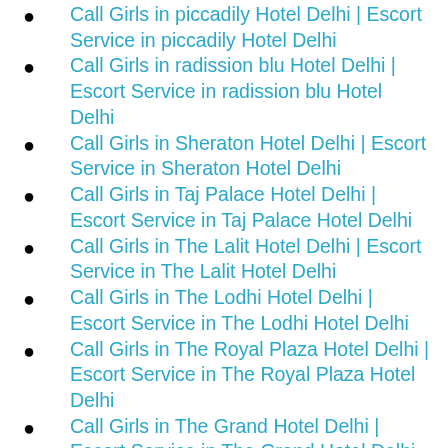Call Girls in piccadily Hotel Delhi | Escort Service in piccadily Hotel Delhi
Call Girls in radission blu Hotel Delhi | Escort Service in radission blu Hotel Delhi
Call Girls in Sheraton Hotel Delhi | Escort Service in Sheraton Hotel Delhi
Call Girls in Taj Palace Hotel Delhi | Escort Service in Taj Palace Hotel Delhi
Call Girls in The Lalit Hotel Delhi | Escort Service in The Lalit Hotel Delhi
Call Girls in The Lodhi Hotel Delhi | Escort Service in The Lodhi Hotel Delhi
Call Girls in The Royal Plaza Hotel Delhi | Escort Service in The Royal Plaza Hotel Delhi
Call Girls in The Grand Hotel Delhi | Escort Service in The Grand Hotel Delhi
Call Girls in vivanta by taj Hotel Surajkund NCR | Escort Service in vivanta by taj Hotel Delhi
Call Girls in The Roseate House Hotel Aerocity | Escort Service in The